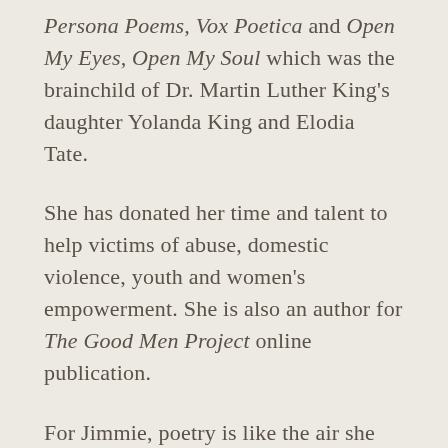Persona Poems, Vox Poetica and Open My Eyes, Open My Soul which was the brainchild of Dr. Martin Luther King's daughter Yolanda King and Elodia Tate.
She has donated her time and talent to help victims of abuse, domestic violence, youth and women's empowerment. She is also an author for The Good Men Project online publication.
For Jimmie, poetry is like the air she breathes and a very necessary healing source for today's world and societal ills.